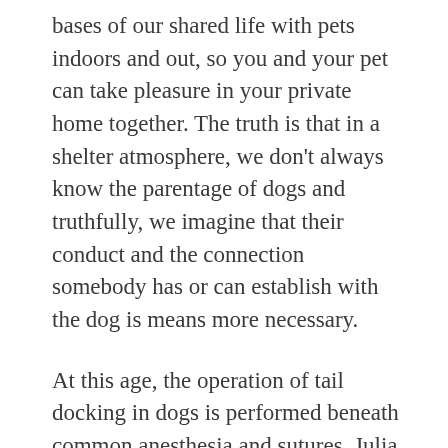bases of our shared life with pets indoors and out, so you and your pet can take pleasure in your private home together. The truth is that in a shelter atmosphere, we don't always know the parentage of dogs and truthfully, we imagine that their conduct and the connection somebody has or can establish with the dog is means more necessary.
At this age, the operation of tail docking in dogs is performed beneath common anesthesia and sutures. Julia Brooks, a veterinarian with Animal Care Center of St. John, stated Trauma was treated for lyme and a tick worm illness, and he also had gastrointestinal points. Several states and native jurisdictions have lately stepped up penalties in opposition to pet owners who leave animals